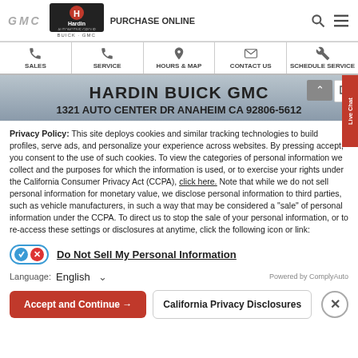GMC | Hardin Automotive Group | PURCHASE ONLINE
SALES | SERVICE | HOURS & MAP | CONTACT US | SCHEDULE SERVICE
HARDIN BUICK GMC
1321 AUTO CENTER DR ANAHEIM CA 92806-5612
Privacy Policy: This site deploys cookies and similar tracking technologies to build profiles, serve ads, and personalize your experience across websites. By pressing accept, you consent to the use of such cookies. To view the categories of personal information we collect and the purposes for which the information is used, or to exercise your rights under the California Consumer Privacy Act (CCPA), click here. Note that while we do not sell personal information for monetary value, we disclose personal information to third parties, such as vehicle manufacturers, in such a way that may be considered a "sale" of personal information under the CCPA. To direct us to stop the sale of your personal information, or to re-access these settings or disclosures at anytime, click the following icon or link:
Do Not Sell My Personal Information
Language: English
Powered by ComplyAuto
Accept and Continue → | California Privacy Disclosures